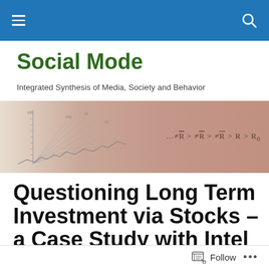Social Mode (navigation bar)
Social Mode
Integrated Synthesis of Media, Society and Behavior
[Figure (illustration): Banner image with diagonal line chart sketch on the left fading into a brownish gradient background, with mathematical formula notation on the right: ...≠R̄̄ > ≠R̄̄ > ≠R̄ > R > R₀]
Questioning Long Term Investment via Stocks – a Case Study with Intel
Follow